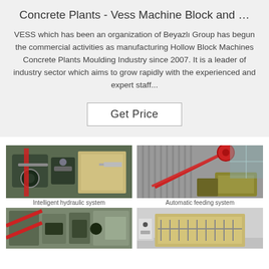Concrete Plants - Vess Machine Block and …
VESS which has been an organization of Beyazlı Group has begun the commercial activities as manufacturing Hollow Block Machines Concrete Plants Moulding Industry since 2007. It is a leader of industry sector which aims to grow rapidly with the experienced and expert staff...
Get Price
[Figure (photo): Industrial machine - intelligent hydraulic system]
Intelligent hydraulic system
[Figure (photo): Industrial conveyor equipment - automatic feeding system]
Automatic feeding system
[Figure (photo): Industrial machine component bottom left]
[Figure (photo): Industrial machine component bottom right]